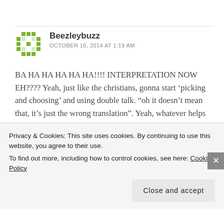[Figure (other): Green diamond-pattern avatar icon for user Beezleybuzz]
Beezleybuzz
OCTOBER 16, 2014 AT 1:19 AM
BA HA HA HA HA HA!!!! INTERPRETATION NOW EH???? Yeah, just like the christians, gonna start ‘picking and choosing’ and using double talk. “oh it doesn’t mean that, it’s just the wrong translation”. Yeah, whatever helps you sleep at night. Islam fully
Privacy & Cookies: This site uses cookies. By continuing to use this website, you agree to their use.
To find out more, including how to control cookies, see here: Cookie Policy
Close and accept